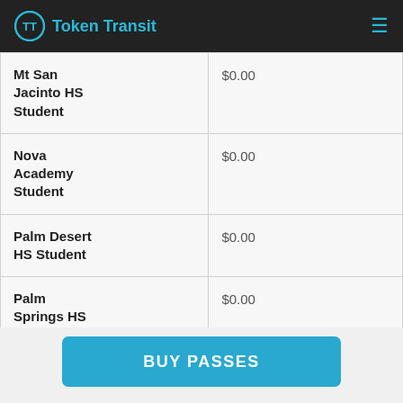Token Transit
| Mt San Jacinto HS Student | $0.00 |
| Nova Academy Student | $0.00 |
| Palm Desert HS Student | $0.00 |
| Palm Springs HS Student | $0.00 |
| Palm Valley School | $0.00 |
BUY PASSES